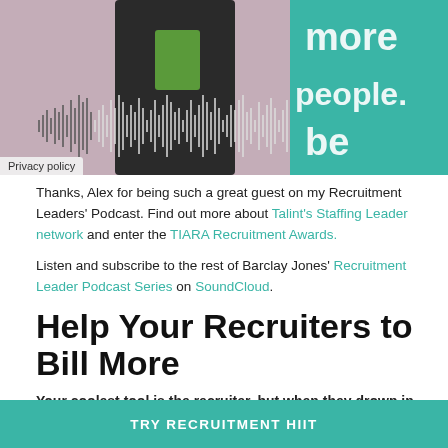[Figure (screenshot): Podcast player screenshot showing a person holding a green book/folder, with a SoundCloud-style waveform overlay. Text on teal background reads 'more people. be' partially visible. A 'Privacy policy' label is at the bottom left.]
Thanks, Alex for being such a great guest on my Recruitment Leaders' Podcast. Find out more about Talint's Staffing Leader network and enter the TIARA Recruitment Awards.
Listen and subscribe to the rest of Barclay Jones' Recruitment Leader Podcast Series on SoundCloud.
Help Your Recruiters to Bill More
Your coolest tool is the recruiter, but when they drown in dirty data, ineffective recruitment processes, and expensive recruitment systems, recruitment becomes slow, risky, and costly. Continuous training and effective use of systems boosts productivity by 30-4
TRY RECRUITMENT HIIT